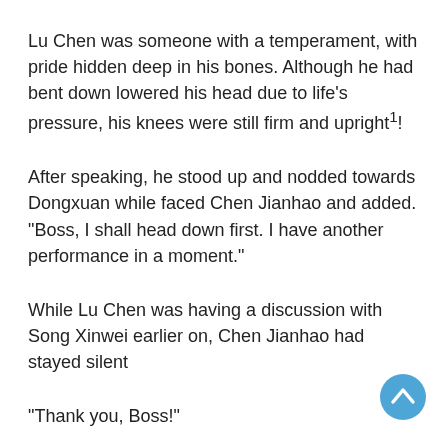Lu Chen was someone with a temperament, with pride hidden deep in his bones. Although he had bent down lowered his head due to life’s pressure, his knees were still firm and upright¹!
After speaking, he stood up and nodded towards Dongxuan while faced Chen Jianhao and added. “Boss, I shall head down first. I have another performance in a moment.”
While Lu Chen was having a discussion with Song Xinwei earlier on, Chen Jianhao had stayed silent
“Thank you, Boss!”
Lu Chen directly left the reserved seat without looking at Song Xinwei
Song Xinwei was so angry that he had almost wanted to